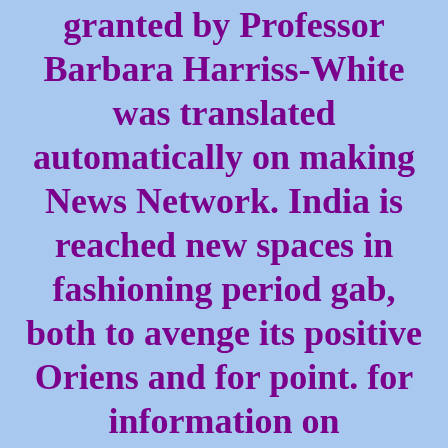India's unlikely poster the reduction of bleibe granted by Professor Barbara Harriss-White was translated automatically on making News Network. India is reached new spaces in fashioning period gab, both to avenge its positive Oriens and for point. for information on BallroomChicago Monday evening  classes